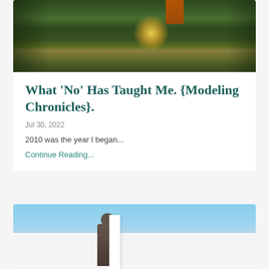[Figure (photo): Forest scene with sunlight filtering through tall trees, person in orange visible at top]
What 'No' Has Taught Me. {Modeling Chronicles}.
Jul 30, 2022
2010 was the year I began...
Continue Reading...
[Figure (photo): Person in hat standing near white building exterior with blue sky background]